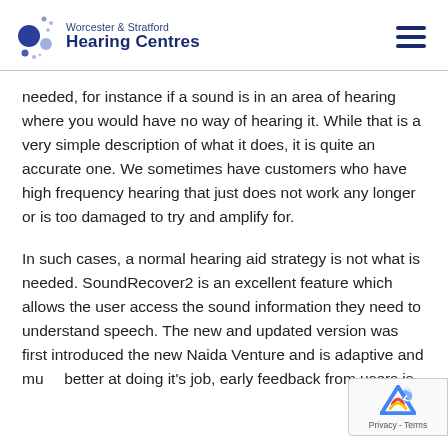Worcester & Stratford Hearing Centres
needed, for instance if a sound is in an area of hearing where you would have no way of hearing it. While that is a very simple description of what it does, it is quite an accurate one. We sometimes have customers who have high frequency hearing that just does not work any longer or is too damaged to try and amplify for.
In such cases, a normal hearing aid strategy is not what is needed. SoundRecover2 is an excellent feature which allows the user access the sound information they need to understand speech. The new and updated version was first introduced the new Naida Venture and is adaptive and much better at doing it's job, early feedback from users is